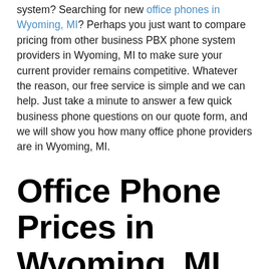system? Searching for new office phones in Wyoming, MI? Perhaps you just want to compare pricing from other business PBX phone system providers in Wyoming, MI to make sure your current provider remains competitive. Whatever the reason, our free service is simple and we can help. Just take a minute to answer a few quick business phone questions on our quote form, and we will show you how many office phone providers are in Wyoming, MI.
Office Phone Prices in Wyoming, MI
Our business phone providers will send you free quotes, and you simply review and compare the various business telephone options available to you from your local